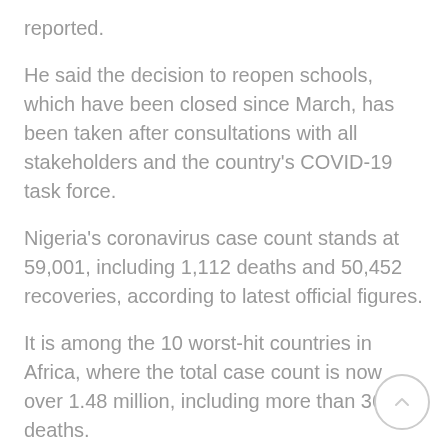reported.
He said the decision to reopen schools, which have been closed since March, has been taken after consultations with all stakeholders and the country's COVID-19 task force.
Nigeria's coronavirus case count stands at 59,001, including 1,112 deaths and 50,452 recoveries, according to latest official figures.
It is among the 10 worst-hit countries in Africa, where the total case count is now over 1.48 million, including more than 36,300 deaths.
However, on Thursday, the World Health Organization (WHO) said there has been a